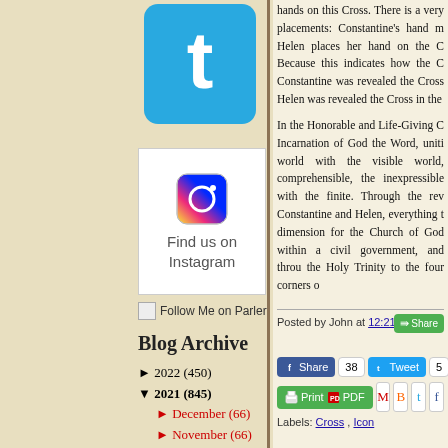[Figure (logo): Twitter bird logo on blue rounded square background]
[Figure (logo): Instagram camera icon with Find us on Instagram text]
Follow Me on Parler
Blog Archive
► 2022 (450)
▼ 2021 (845)
► December (66)
► November (66)
► October (68)
► September (72)
► August (80)
► July (12)
► June (67)
▼ May (76)
The Best of May 2021 by the Mystagogy Resource Cen...
hands on this Cross. There is a very placements: Constantine's hand m Helen places her hand on the C Because this indicates how the C Constantine was revealed the Cross Helen was revealed the Cross in the
In the Honorable and Life-Giving C Incarnation of God the Word, uniti world with the visible world, comprehensible, the inexpressible with the finite. Through the rev Constantine and Helen, everything t dimension for the Church of God within a civil government, and throu the Holy Trinity to the four corners o
Posted by John at 12:21:00 PM
[Figure (screenshot): Social sharing buttons: Facebook Share (38), Twitter Tweet (5), email button, Print/PDF button, Gmail, Blogger, Twitter, Facebook icons]
Labels: Cross , Icon